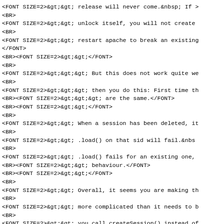<FONT SIZE=2>&gt;&gt; release will never come.&nbsp; If 
<BR>
<FONT SIZE=2>&gt;&gt; unlock itself, you will not create
<BR>
<FONT SIZE=2>&gt;&gt; restart apache to break an existing
</FONT>
<BR><FONT SIZE=2>&gt;&gt;</FONT>
<BR>
<FONT SIZE=2>&gt;&gt;&gt; But this does not work quite we
<BR>
<FONT SIZE=2>&gt;&gt;&gt; then you do this: First time th
<BR><FONT SIZE=2>&gt;&gt;&gt; are the same.</FONT>
<BR><FONT SIZE=2>&gt;&gt;</FONT>
<BR>
<FONT SIZE=2>&gt;&gt; When a session has been deleted, it
<BR>
<FONT SIZE=2>&gt;&gt; .load() on that sid will fail.&nbs
<BR>
<FONT SIZE=2>&gt;&gt; .load() fails for an existing one,
<BR><FONT SIZE=2>&gt;&gt; behaviour.</FONT>
<BR><FONT SIZE=2>&gt;&gt;</FONT>
<BR>
<FONT SIZE=2>&gt;&gt; Overall, it seems you are making th
<BR>
<FONT SIZE=2>&gt;&gt; more complicated than it needs to b
<BR>
<FONT SIZE=2>&gt;&gt; you call createSession() instead of
</FONT>
<BR><FONT SIZE=2>&gt;&gt;</FONT>
<BR>